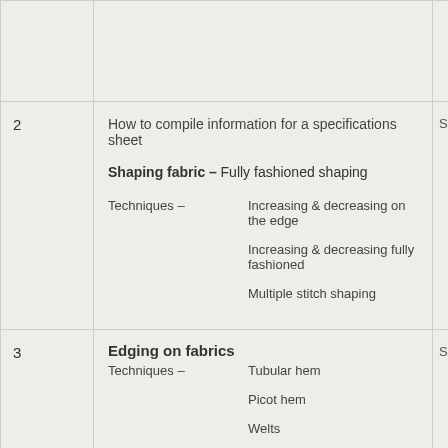| # | Content | Right |
| --- | --- | --- |
|  |  |  |
| 2 | How to compile information for a specifications sheet

Shaping fabric – Fully fashioned shaping

Techniques –
Increasing & decreasing on the edge
Increasing & decreasing fully fashioned
Multiple stitch shaping | Sa... |
| 3 | Edging on fabrics
Techniques –
Tubular hem
Picot hem
Welts | Sa... |